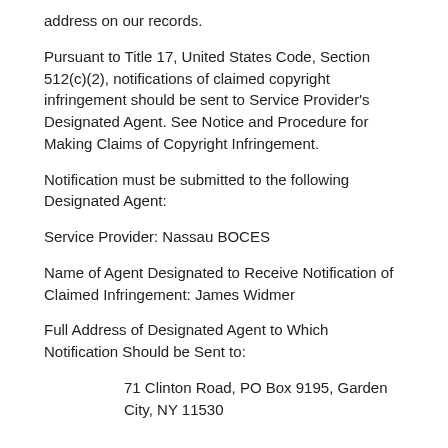address on our records.
Pursuant to Title 17, United States Code, Section 512(c)(2), notifications of claimed copyright infringement should be sent to Service Provider's Designated Agent. See Notice and Procedure for Making Claims of Copyright Infringement.
Notification must be submitted to the following Designated Agent:
Service Provider: Nassau BOCES
Name of Agent Designated to Receive Notification of Claimed Infringement: James Widmer
Full Address of Designated Agent to Which Notification Should be Sent to:
71 Clinton Road, PO Box 9195, Garden City, NY 11530